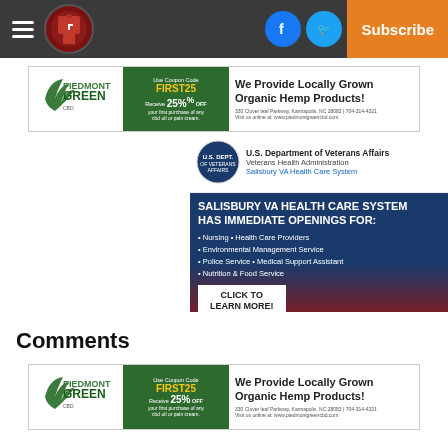Navigation bar with hamburger menu, logo, Facebook, Twitter, and Subscribe button
[Figure (infographic): Piedmont Green CBD advertisement banner: Use Coupon Code FIRST25, Receive 25% OFF your first purchase of any cbd oil or pain cream. We Provide Locally Grown Organic Hemp Products! 330 Clover leaf Parkway, Kannapolis, NC 28083 | 704-314-4321, Visit us online at: www.piedmontgreencbd.com]
[Figure (infographic): Salisbury VA Health Care System advertisement: U.S. Department of Veterans Affairs, Veterans Health Administration, Salisbury VA Health Care System. SALISBURY VA HEALTH CARE SYSTEM HAS IMMEDIATE OPENINGS FOR: Nursing, Health Care Providers, Environmental Management Service, Police Service, Medical Support Assistant, Nutrition & Food Service. CLICK TO LEARN MORE!]
Comments
[Figure (infographic): Piedmont Green CBD advertisement banner (repeated): Use Coupon Code FIRST25, Receive 25% OFF your first purchase of any cbd oil or pain cream. We Provide Locally Grown Organic Hemp Products! 330 Clover leaf Parkway, Kannapolis, NC 28083 | 704-314-4321, Visit us online at: www.piedmontgreencbd.com]